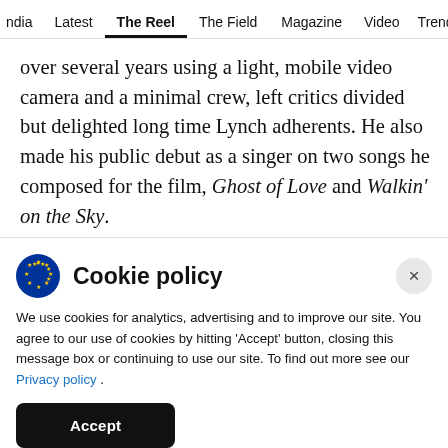ndia   Latest   The Reel   The Field   Magazine   Video   Trend
over several years using a light, mobile video camera and a minimal crew, left critics divided but delighted long time Lynch adherents. He also made his public debut as a singer on two songs he composed for the film, Ghost of Love and Walkin' on the Sky.
Cookie policy
We use cookies for analytics, advertising and to improve our site. You agree to our use of cookies by hitting 'Accept' button, closing this message box or continuing to use our site. To find out more see our Privacy policy .
Accept